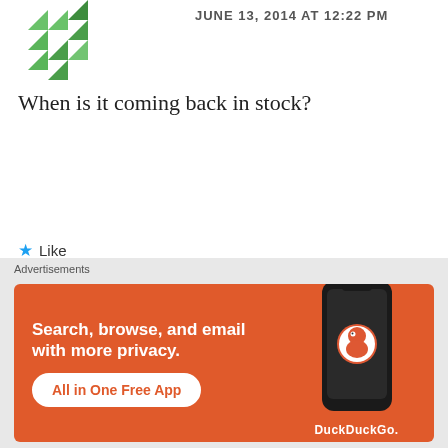[Figure (illustration): Partial green decorative avatar icon visible at top-left]
JUNE 13, 2014 AT 12:22 PM
When is it coming back in stock?
★ Like
REPLY
[Figure (photo): Circular profile photo of Gaurav Shukla, a young man in a dark shirt]
Gaurav Shukla
JUNE 13, 2014 AT 2:14 PM
[Figure (screenshot): DuckDuckGo advertisement banner: orange background, phone image, text 'Search, browse, and email with more privacy. All in One Free App', DuckDuckGo logo]
Advertisements